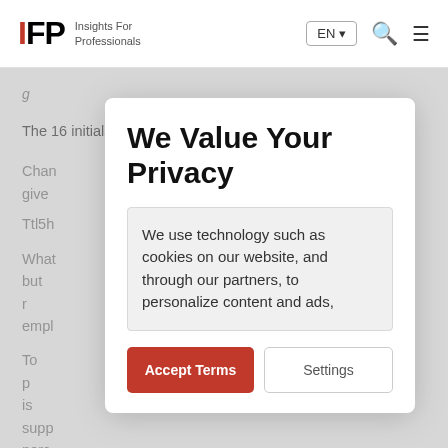IFP Insights For Professionals | EN | Search | Menu
The 16 initials in this phrase are: ttlshiwwyauatwsh
Changing others gives...
Ttl5h...
What... password, but r... swords empl... ation.
To p... sword is supp... no perc... practical. With... ay's socie... taff to take on th... ious and
We Value Your Privacy
We use technology such as cookies on our website, and through our partners, to personalize content and ads,
Accept Terms
Settings